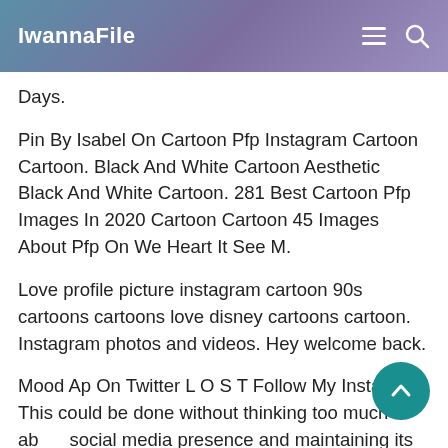IwannaFile
Days.
Pin By Isabel On Cartoon Pfp Instagram Cartoon Cartoon. Black And White Cartoon Aesthetic Black And White Cartoon. 281 Best Cartoon Pfp Images In 2020 Cartoon Cartoon 45 Images About Pfp On We Heart It See M.
Love profile picture instagram cartoon 90s cartoons cartoons love disney cartoons cartoon. Instagram photos and videos. Hey welcome back.
Mood Ap On Twitter L O S T Follow My Instagram. This could be done without thinking too much about social media presence and maintaining its digital visibility. Dec 22 2019 - Profile Picture webarebears